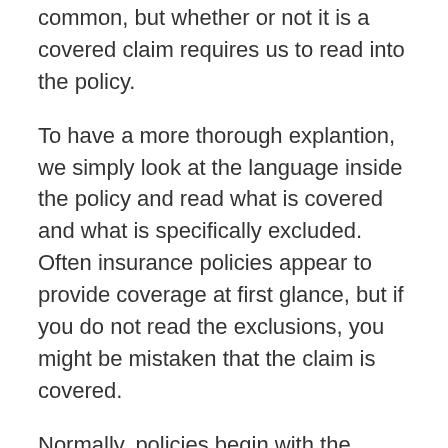common, but whether or not it is a covered claim requires us to read into the policy.
To have a more thorough explantion, we simply look at the language inside the policy and read what is covered and what is specifically excluded. Often insurance policies appear to provide coverage at first glance, but if you do not read the exclusions, you might be mistaken that the claim is covered.
Normally, policies begin with the ‘Declarations’ page, which oulines all the drivers, vehicles, deductibles, and liability limits you have on your policy. The ‘dec’ page contains the information needed to establish if you have a valid claim.
You first need to check if the vehicle your phone was